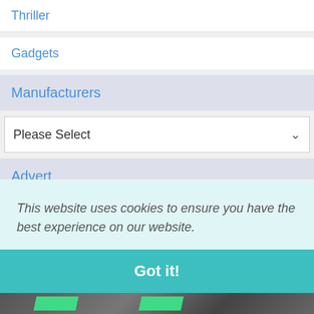Thriller
Gadgets
Manufacturers
Please Select
Advert
[Figure (photo): Black and white photo of a woman's face with green graphic banners overlaid]
This website uses cookies to ensure you have the best experience on our website.
Got it!
[Figure (photo): Partial view of people in green clothing at the bottom of the page]